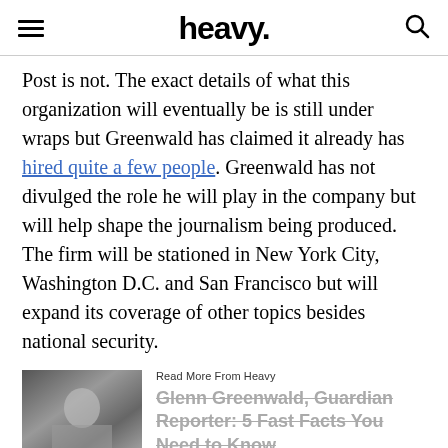heavy.
Post is not. The exact details of what this organization will eventually be is still under wraps but Greenwald has claimed it already has hired quite a few people. Greenwald has not divulged the role he will play in the company but will help shape the journalism being produced. The firm will be stationed in New York City, Washington D.C. and San Francisco but will expand its coverage of other topics besides national security.
Read More From Heavy
Glenn Greenwald, Guardian Reporter: 5 Fast Facts You Need to Know